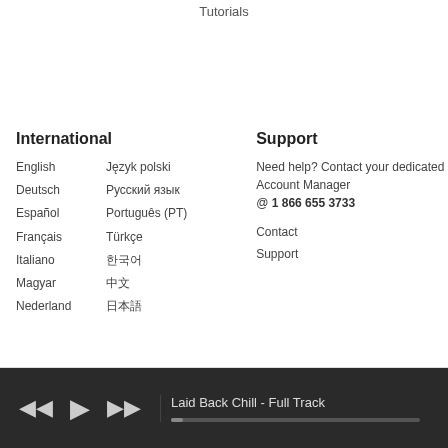Tutorials
International
English
Deutsch
Español
Français
Italiano
Magyar
Nederland
Język polski
Русский язык
Português (PT)
Türkçe
한국어
中文
日本語
Support
Need help? Contact your dedicated Account Manager @ 1 866 655 3733
Contact
Support
Laid Back Chill - Full Track